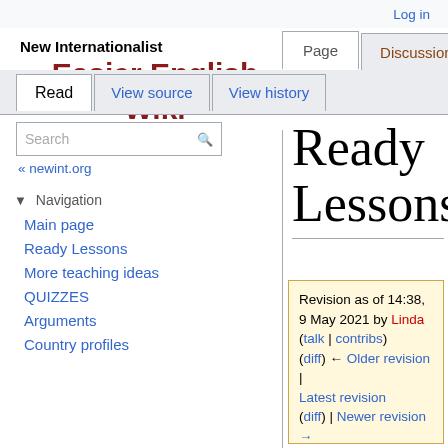Log in
New Internationalist
Easier English Wiki
Page  Discussion
Read  View source  View history
Search
« newint.org
Navigation
Main page
Ready Lessons
More teaching ideas
QUIZZES
Arguments
Country profiles
Ready Lessons
Revision as of 14:38, 9 May 2021 by Linda (talk | contribs)
(diff) ← Older revision | Latest revision (diff) | Newer revision →